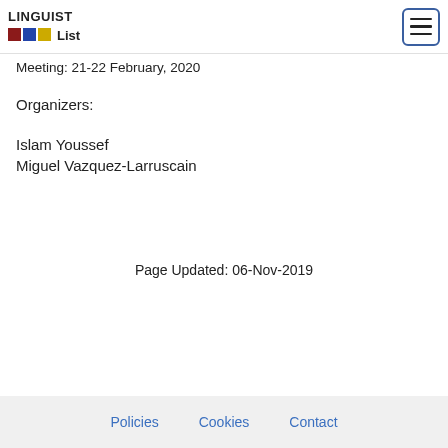LINGUIST List
Meeting: 21-22 February, 2020
Organizers:
Islam Youssef
Miguel Vazquez-Larruscain
Page Updated: 06-Nov-2019
Policies   Cookies   Contact